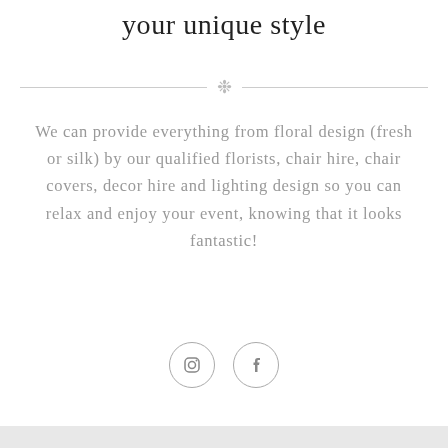your unique style
[Figure (illustration): Decorative snowflake/asterisk divider with horizontal lines on each side]
We can provide everything from floral design (fresh or silk) by our qualified florists, chair hire, chair covers, decor hire and lighting design so you can relax and enjoy your event, knowing that it looks fantastic!
[Figure (other): Instagram and Facebook social media icons (circle-outlined)]